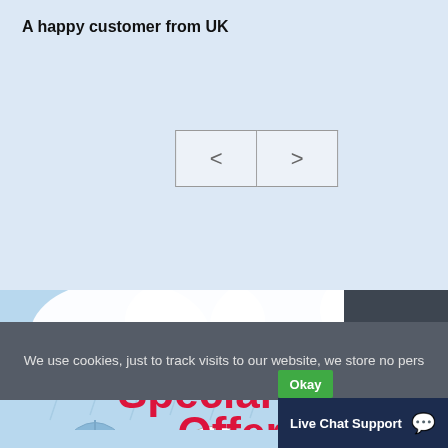A happy customer from UK
[Figure (screenshot): Navigation prev/next buttons (< and >) on a light blue background]
[Figure (illustration): Monsoon Special Offer advertisement banner - Get upto 20% OFF, with rain clouds and umbrellas on light blue background, red close button 'X' in top right]
[Figure (screenshot): Dark gray sidebar panel with scroll-to-top arrow button]
We use cookies, just to track visits to our website, we store no pers
Okay
Live Chat Support